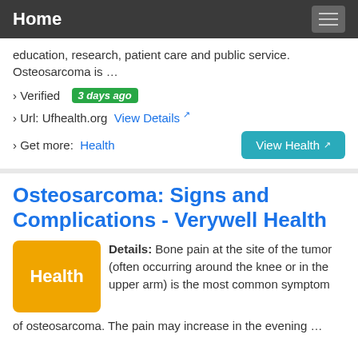Home
education, research, patient care and public service. Osteosarcoma is …
› Verified  3 days ago
› Url: Ufhealth.org  View Details ↗
› Get more:  Health  View Health ↗
Osteosarcoma: Signs and Complications - Verywell Health
Details: Bone pain at the site of the tumor (often occurring around the knee or in the upper arm) is the most common symptom of osteosarcoma. The pain may increase in the evening …